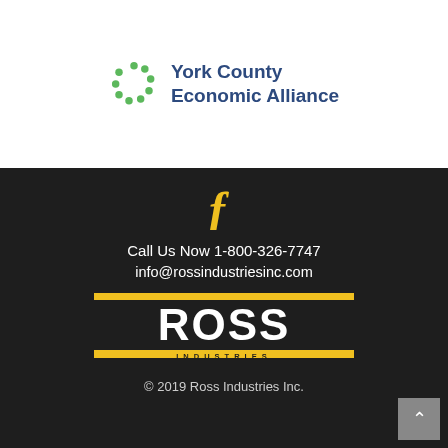[Figure (logo): York County Economic Alliance logo: circular dotted green icon on left, text 'York County Economic Alliance' in dark blue on right]
[Figure (logo): Facebook 'f' icon in yellow/gold]
Call Us Now 1-800-326-7747
info@rossindustriesinc.com
[Figure (logo): Ross Industries logo: bold white letters ROSS with yellow horizontal bars top and bottom, INDUSTRIES text below in yellow bar, on dark background]
© 2019 Ross Industries Inc.